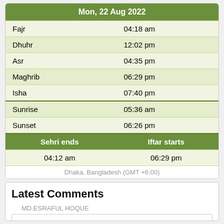|  |  |
| --- | --- |
| Mon, 22 Aug 2022 |  |
| Fajr | 04:18 am |
| Dhuhr | 12:02 pm |
| Asr | 04:35 pm |
| Maghrib | 06:29 pm |
| Isha | 07:40 pm |
| Sunrise | 05:36 am |
| Sunset | 06:26 pm |
| Sehri ends | Iftar starts |
| 04:12 am | 06:29 pm |
Dhaka, Bangladesh (GMT +6:00)
Latest Comments
MD.ESRAFUL HOQUE
Sir help me a little. I have applied for admission in National University. In our ...
Read more...
Tamjida mim
I want to get admit under National University.